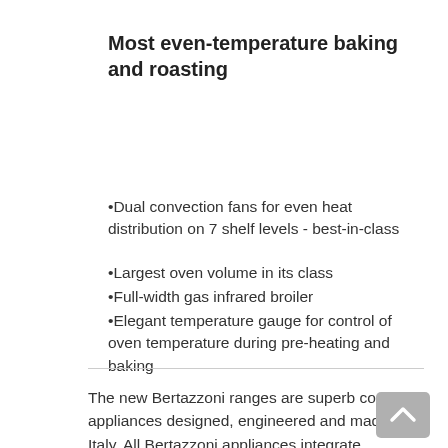Most even-temperature baking and roasting
•Dual convection fans for even heat distribution on 7 shelf levels - best-in-class
•Largest oven volume in its class
•Full-width gas infrared broiler
•Elegant temperature gauge for control of oven temperature during pre-heating and baking
The new Bertazzoni ranges are superb cooking appliances designed, engineered and made in Italy. All Bertazzoni appliances integrate seamlessly into style-harmonized suites for a true, high-performing kitchen.
The high-efficiency maintop with 6 brass burners